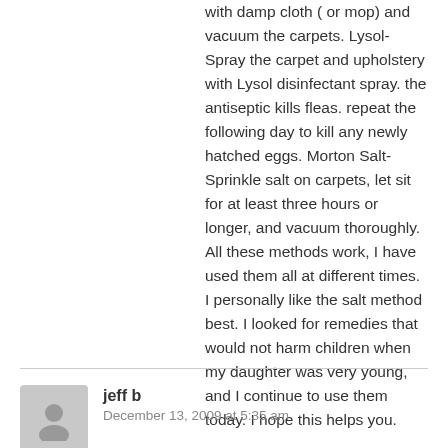with damp cloth ( or mop) and vacuum the carpets. Lysol- Spray the carpet and upholstery with Lysol disinfectant spray. the antiseptic kills fleas. repeat the following day to kill any newly hatched eggs. Morton Salt- Sprinkle salt on carpets, let sit for at least three hours or longer, and vacuum thoroughly. All these methods work, I have used them all at different times. I personally like the salt method best. I looked for remedies that would not harm children when my daughter was very young, and I continue to use them today. I hope this helps you.
jeff b
December 13, 2009 at 5:35 am
A professional exterminator would be recommended in this instance. Fleas are a tough problem for a homeowner to solve. You also want to limit exposure